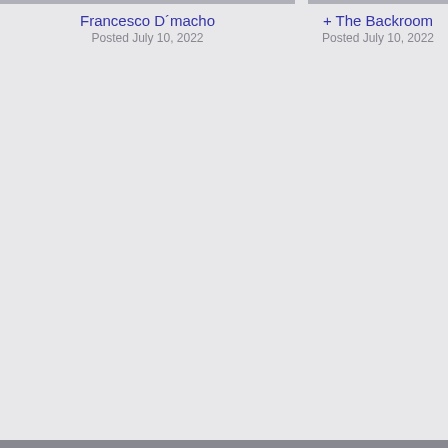Francesco D´macho
Posted July 10, 2022
+ The Backroom
Posted July 10, 2022